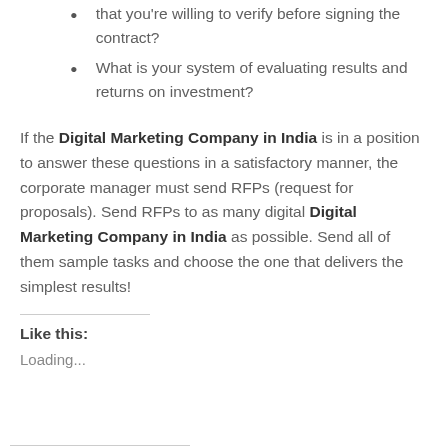that you're willing to verify before signing the contract?
What is your system of evaluating results and returns on investment?
If the Digital Marketing Company in India is in a position to answer these questions in a satisfactory manner, the corporate manager must send RFPs (request for proposals). Send RFPs to as many digital Digital Marketing Company in India as possible. Send all of them sample tasks and choose the one that delivers the simplest results!
Like this:
Loading...